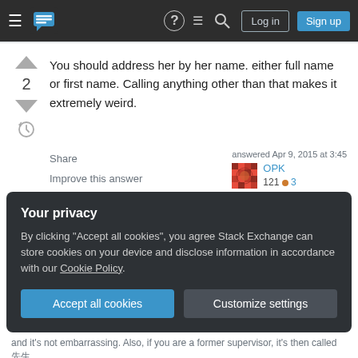Stack Exchange navigation bar with hamburger menu, logo, help, chat, search, Log in, Sign up
You should address her by her name. either full name or first name. Calling anything other than that makes it extremely weird.
Share
Improve this answer
Follow
answered Apr 9, 2015 at 3:45
OPK
121 ● 3
So 彼女 is extremely weird? – Olle Linge Apr 10, 2015 at 7:03
Your privacy
By clicking "Accept all cookies", you agree Stack Exchange can store cookies on your device and disclose information in accordance with our Cookie Policy.
Accept all cookies  Customize settings